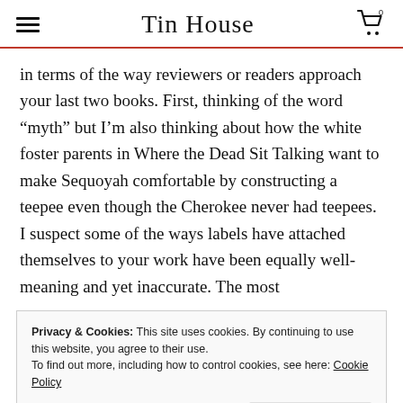Tin House
in terms of the way reviewers or readers approach your last two books. First, thinking of the word “myth” but I’m also thinking about how the white foster parents in Where the Dead Sit Talking want to make Sequoyah comfortable by constructing a teepee even though the Cherokee never had teepees. I suspect some of the ways labels have attached themselves to your work have been equally well-meaning and yet inaccurate. The most
Privacy & Cookies: This site uses cookies. By continuing to use this website, you agree to their use.
To find out more, including how to control cookies, see here: Cookie Policy
Close and accept